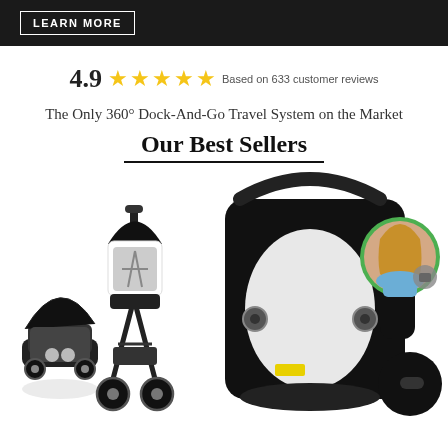LEARN MORE
4.9 ★★★★★ Based on 633 customer reviews
The Only 360° Dock-And-Go Travel System on the Market
Our Best Sellers
[Figure (photo): Left: black travel system showing car seat docked on stroller frame with canopy, and stroller with infant seat. Right: close-up of car seat base/carrier with woman's portrait in green circular frame overlay, and black accessories.]